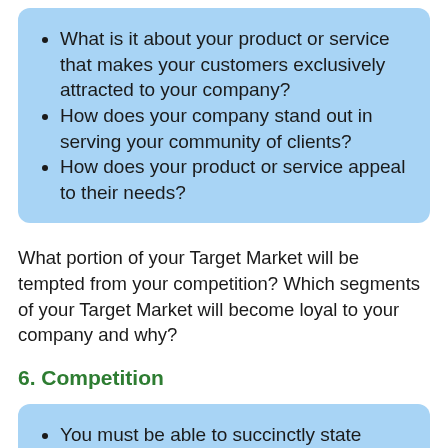What is it about your product or service that makes your customers exclusively attracted to your company?
How does your company stand out in serving your community of clients?
How does your product or service appeal to their needs?
What portion of your Target Market will be tempted from your competition? Which segments of your Target Market will become loyal to your company and why?
6. Competition
You must be able to succinctly state